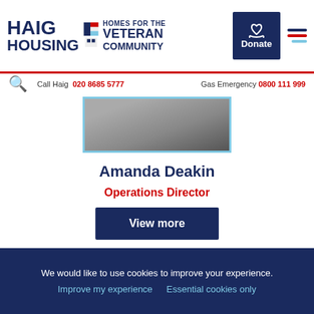HAIG HOUSING — HOMES FOR THE VETERAN COMMUNITY | Donate | Call Haig 020 8685 5777 | Gas Emergency 0800 111 999
[Figure (photo): Partial photo of Amanda Deakin, cropped showing top of head and shoulders, with light blue border frame]
Amanda Deakin
Operations Director
View more
[Figure (photo): Partial photo of next person, showing top of dark hair, with light blue border frame, partially visible]
We would like to use cookies to improve your experience. Improve my experience Essential cookies only